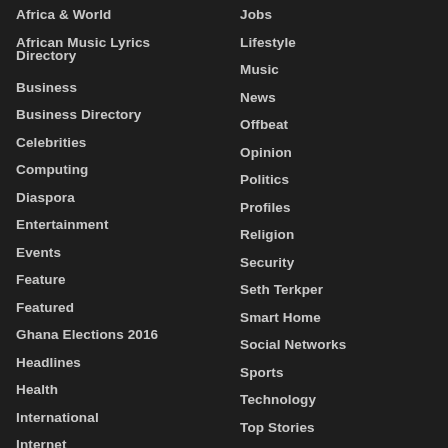Africa & World
African Music Lyrics Directory
Business
Business Directory
Celebrities
Computing
Diaspora
Entertainment
Events
Feature
Featured
Ghana Elections 2016
Headlines
Health
International
Internet
Jobs
Lifestyle
Music
News
Offbeat
Opinion
Politics
Profiles
Religion
Security
Seth Terkper
Smart Home
Social Networks
Sports
Technology
Top Stories